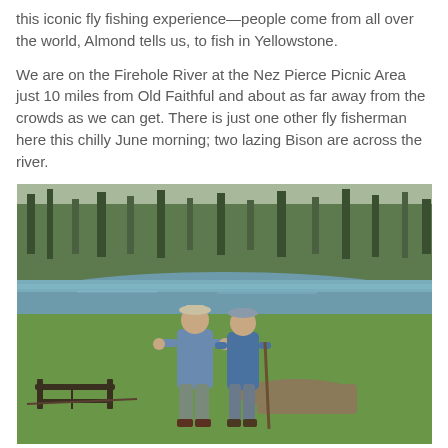this iconic fly fishing experience—people come from all over the world, Almond tells us, to fish in Yellowstone.
We are on the Firehole River at the Nez Pierce Picnic Area just 10 miles from Old Faithful and about as far away from the crowds as we can get. There is just one other fly fisherman here this chilly June morning; two lazing Bison are across the river.
[Figure (photo): Two fly fishermen standing on the grassy bank of the Firehole River in Yellowstone, with pine trees and the river visible in the background. Fishing equipment is on the ground nearby.]